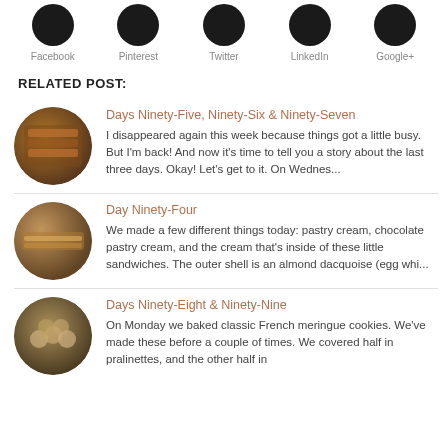[Figure (other): Social media icons row: Facebook, Pinterest, Twitter, LinkedIn, Google+]
RELATED POST:
[Figure (photo): Circular thumbnail of baked goods for Days Ninety-Five, Ninety-Six & Ninety-Seven]
Days Ninety-Five, Ninety-Six & Ninety-Seven
I disappeared again this week because things got a little busy.  But I’m back!  And now it’s time to tell you a story about the last three days.  Okay!  Let’s get to it.  On Wednes...
[Figure (photo): Circular thumbnail of pastries for Day Ninety-Four]
Day Ninety-Four
We made a few different things today: pastry cream, chocolate pastry cream, and the cream that’s inside of these little sandwiches.  The outer shell is an almond dacquoise (egg whi...
[Figure (photo): Circular thumbnail of cookies for Days Ninety-Eight & Ninety-Nine]
Days Ninety-Eight & Ninety-Nine
On Monday we baked classic French meringue cookies.  We’ve made these before a couple of times.  We covered half in pralinettes, and the other half in